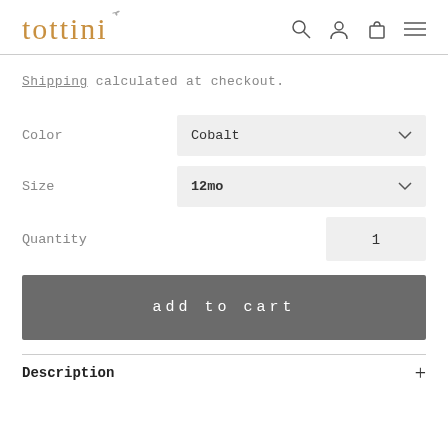tottini
Shipping calculated at checkout.
Color  Cobalt
Size  12mo
Quantity  1
add to cart
Description